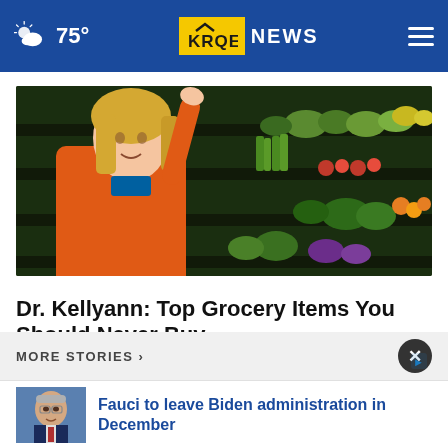75° KRQE NEWS
[Figure (photo): Woman in orange top reaching toward produce shelves in a grocery store, colorful vegetables on display]
Dr. Kellyann: Top Grocery Items You Should Never Buy
Ad by Dr. Kellyann
MORE STORIES >
[Figure (photo): Thumbnail of elderly man (Dr. Fauci) against blue background]
Fauci to leave Biden administration in December